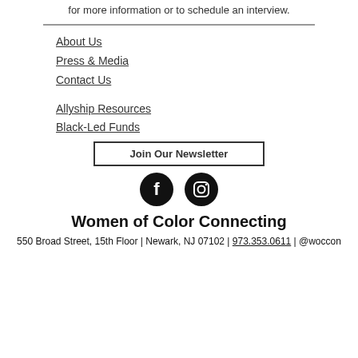for more information or to schedule an interview.
About Us
Press & Media
Contact Us
Allyship Resources
Black-Led Funds
Join Our Newsletter
[Figure (illustration): Facebook and Instagram social media icons (black circles with white logos)]
Women of Color Connecting
550 Broad Street, 15th Floor | Newark, NJ 07102 | 973.353.0611 | @woccon